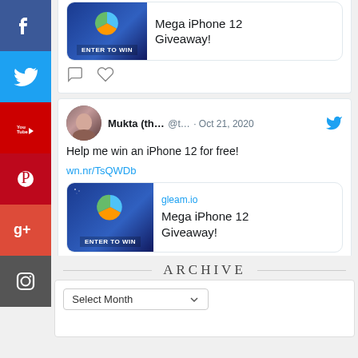[Figure (screenshot): Partial tweet card at top showing link preview with ENTER TO WIN button and text 'Mega iPhone 12 Giveaway!' plus comment and like icons]
[Figure (screenshot): Tweet by Mukta (@t...) on Oct 21, 2020 saying 'Help me win an iPhone 12 for free! wn.nr/TsQWDb' with a gleam.io link preview card showing 'ENTER TO WIN' and 'Mega iPhone 12 Giveaway!']
[Figure (infographic): Social media sidebar with Facebook, Twitter, YouTube, Pinterest, Google+, and Instagram icons]
ARCHIVE
Select Month